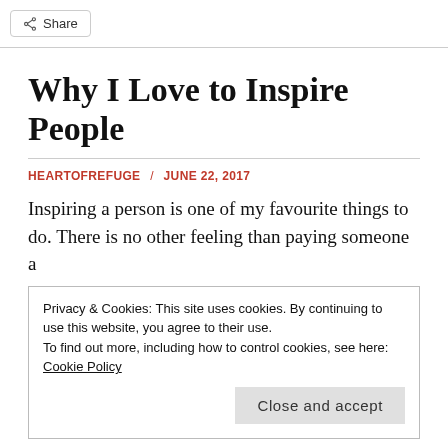Share
Why I Love to Inspire People
HEARTOFREFUGE / JUNE 22, 2017
Inspiring a person is one of my favourite things to do. There is no other feeling than paying someone a
Privacy & Cookies: This site uses cookies. By continuing to use this website, you agree to their use.
To find out more, including how to control cookies, see here: Cookie Policy
Close and accept
For a many years I had been on the receiving end of